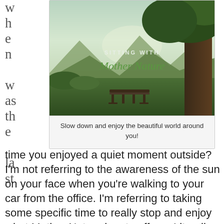when was the last
[Figure (photo): Nature scene with a bench under a large tree, mountains in background, text overlay reading 'SITTING WITH Mother Nature']
Slow down and enjoy the beautiful world around you!
time you enjoyed a quiet moment outside? I'm not referring to the awareness of the sun on your face when you're walking to your car from the office. I'm referring to taking some specific time to really stop and enjoy what Mother Nature has to offer… Literally scheduling time to get outside and enjoy this beautiful world?